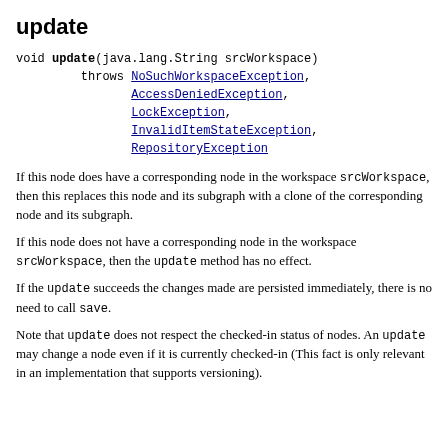update
void update(java.lang.String srcWorkspace)
         throws NoSuchWorkspaceException,
                AccessDeniedException,
                LockException,
                InvalidItemStateException,
                RepositoryException
If this node does have a corresponding node in the workspace srcWorkspace, then this replaces this node and its subgraph with a clone of the corresponding node and its subgraph.
If this node does not have a corresponding node in the workspace srcWorkspace, then the update method has no effect.
If the update succeeds the changes made are persisted immediately, there is no need to call save.
Note that update does not respect the checked-in status of nodes. An update may change a node even if it is currently checked-in (This fact is only relevant in an implementation that supports versioning).